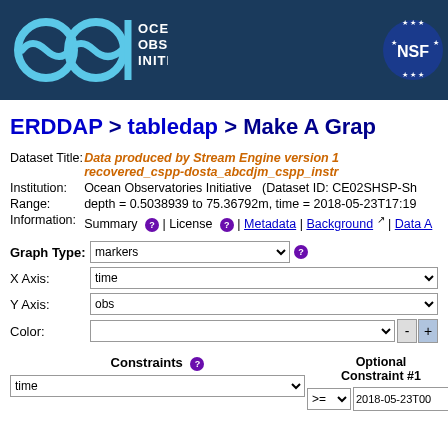[Figure (logo): Ocean Observatories Initiative (OOI) header banner with logo and NSF logo on dark blue background]
ERDDAP > tabledap > Make A Grap…
Dataset Title: Data produced by Stream Engine version 1… recovered_cspp-dosta_abcdjm_cspp_instr…
Institution: Ocean Observatories Initiative  (Dataset ID: CE02SHSP-Sh…
Range: depth = 0.5038939 to 75.36792m, time = 2018-05-23T17:19…
Information: Summary | License | Metadata | Background | Data A…
Graph Type: markers
X Axis: time
Y Axis: obs
Color:
Constraints
Optional Constraint #1
time >= 2018-05-23T00…